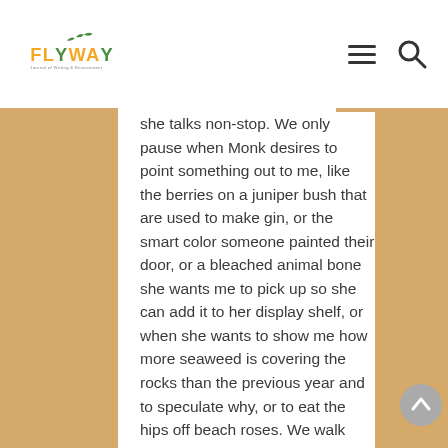Flyway — Journal of Writing & Environment
she talks non-stop. We only pause when Monk desires to point something out to me, like the berries on a juniper bush that are used to make gin, or the smart color someone painted their door, or a bleached animal bone she wants me to pick up so she can add it to her display shelf, or when she wants to show me how more seaweed is covering the rocks than the previous year and to speculate why, or to eat the hips off beach roses. We walk through yards, woods, gardens, and driveways. As I've gotten older, more Private Property signs have appeared as new names show up on mailboxes. My grandmother never sees the signs, or if she does, she doesn't believe they apply